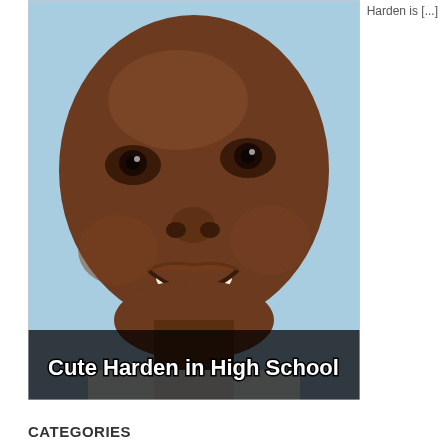Harden is [...]
[Figure (photo): A smiling young man (James Harden in high school) with a caption overlay reading 'Cute Harden in High School' in bold white text with black outline at the bottom of the image.]
CATEGORIES